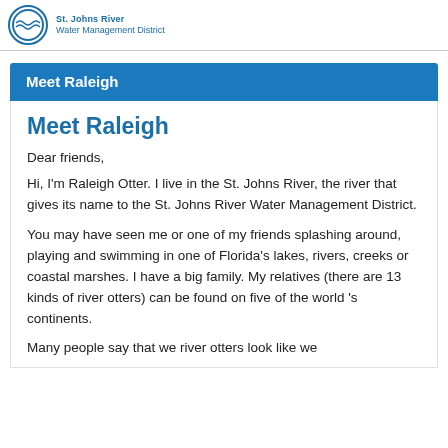Water Management District
Meet Raleigh
Meet Raleigh
Dear friends,
Hi, I'm Raleigh Otter. I live in the St. Johns River, the river that gives its name to the St. Johns River Water Management District.
You may have seen me or one of my friends splashing around, playing and swimming in one of Florida's lakes, rivers, creeks or coastal marshes. I have a big family. My relatives (there are 13 kinds of river otters) can be found on five of the world 's continents.
Many people say that we river otters look like we